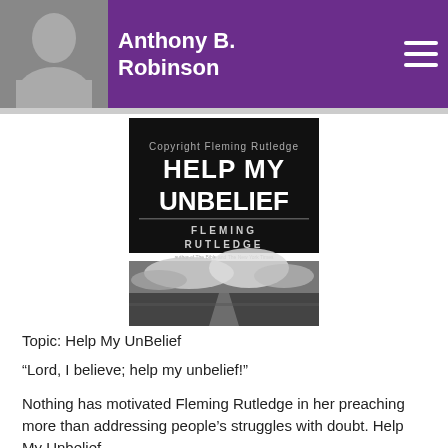Anthony B. Robinson
[Figure (photo): Book cover of 'Help My Unbelief' by Fleming Rutledge, showing bold white text on black background in upper half and a black-and-white landscape photo of a road with dramatic clouds in lower half.]
Topic: Help My UnBelief
“Lord, I believe; help my unbelief!”
Nothing has motivated Fleming Rutledge in her preaching more than addressing people’s struggles with doubt. Help My Unbelief...